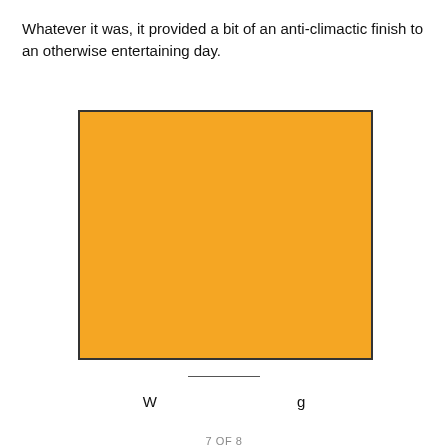Whatever it was, it provided a bit of an anti-climactic finish to an otherwise entertaining day.
[Figure (illustration): A large orange/amber filled rectangle with a thin dark border, serving as a placeholder image or photo.]
W Previous | Next g
7 OF 8